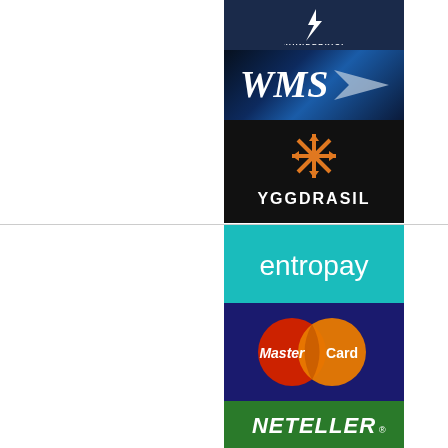[Figure (logo): Thunderkick logo - white thunderbolt icon with THUNDERKICK text on dark navy background]
[Figure (logo): WMS logo - bold italic white letters on blue metallic background with swoosh]
[Figure (logo): Yggdrasil Gaming logo - orange snowflake/tree icon with YGGDRASIL text on black background]
[Figure (logo): entropay logo - white lowercase text on teal/turquoise background]
[Figure (logo): MasterCard logo - red and orange overlapping circles with MasterCard text on dark blue background]
[Figure (logo): NETELLER logo - white bold italic text with registered trademark on green background]
[Figure (logo): PayPal logo - blue P icon with PayPal text in blue and dark blue on white background]